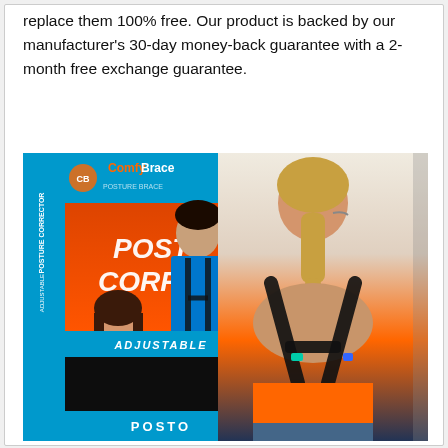replace them 100% free. Our product is backed by our manufacturer's 30-day money-back guarantee with a 2-month free exchange guarantee.
[Figure (photo): Product photo of ComfyBrace Posture Corrector Adjustable brace. Shows the product box with branding (ComfyBrace, POSTURE CORRECTOR, ADJUSTABLE) alongside a woman wearing the black posture corrector brace over an orange sports top, viewed from the back. A man in a blue t-shirt also wearing the brace is visible on the box.]